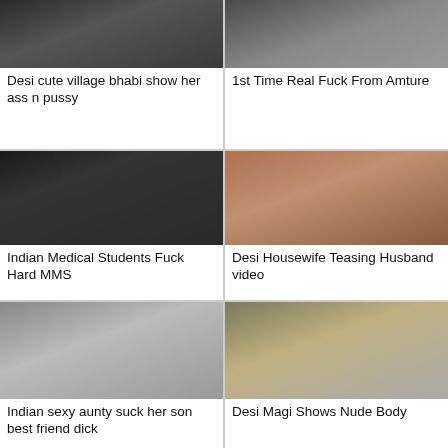[Figure (photo): Video thumbnail 1]
Desi cute village bhabi show her ass n pussy
[Figure (photo): Video thumbnail 2]
1st Time Real Fuck From Amture
[Figure (photo): Video thumbnail 3]
Indian Medical Students Fuck Hard MMS
[Figure (photo): Video thumbnail 4]
Desi Housewife Teasing Husband video
[Figure (photo): Video thumbnail 5]
Indian sexy aunty suck her son best friend dick
[Figure (photo): Video thumbnail 6]
Desi Magi Shows Nude Body